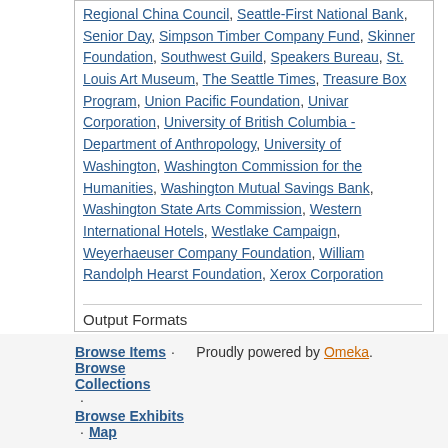Regional China Council, Seattle-First National Bank, Senior Day, Simpson Timber Company Fund, Skinner Foundation, Southwest Guild, Speakers Bureau, St. Louis Art Museum, The Seattle Times, Treasure Box Program, Union Pacific Foundation, Univar Corporation, University of British Columbia - Department of Anthropology, University of Washington, Washington Commission for the Humanities, Washington Mutual Savings Bank, Washington State Arts Commission, Western International Hotels, Westlake Campaign, Weyerhaeuser Company Foundation, William Randolph Hearst Foundation, Xerox Corporation
Output Formats
atom, dc-rdf, dcmes-xml, json, omeka-xml, rss2
Browse Items · Browse Collections · Browse Exhibits · Map · Proudly powered by Omeka.